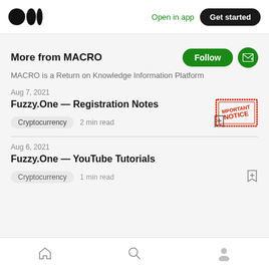Medium logo | Open in app | Get started
More from MACRO
MACRO is a Return on Knowledge Information Platform
Aug 7, 2021
Fuzzy.One — Registration Notes
Cryptocurrency  2 min read
[Figure (illustration): Red 'IMPORTANT NOTICE' rubber stamp graphic]
Aug 6, 2021
Fuzzy.One — YouTube Tutorials
Cryptocurrency  1 min read
Home | Search | Profile navigation icons